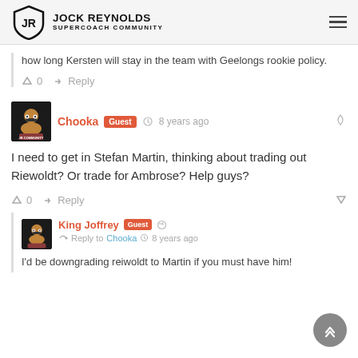JOCK REYNOLDS SUPERCOACH COMMUNITY
how long Kersten will stay in the team with Geelongs rookie policy.
0  Reply
Chooka Guest  8 years ago
I need to get in Stefan Martin, thinking about trading out Riewoldt? Or trade for Ambrose? Help guys?
0  Reply
King Joffrey Guest  Reply to Chooka  8 years ago
I'd be downgrading reiwoldt to Martin if you must have him!